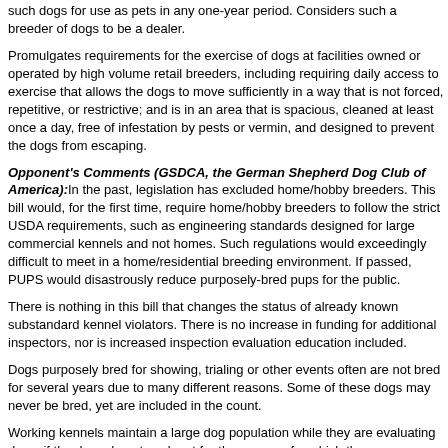such dogs for use as pets in any one-year period. Considers such a breeder of dogs to be a dealer.
Promulgates requirements for the exercise of dogs at facilities owned or operated by high volume retail breeders, including requiring daily access to exercise that allows the dogs to move sufficiently in a way that is not forced, repetitive, or restrictive; and is in an area that is spacious, cleaned at least once a day, free of infestation by pests or vermin, and designed to prevent the dogs from escaping.
Opponent's Comments (GSDCA, the German Shepherd Dog Club of America): In the past, legislation has excluded home/hobby breeders. This bill would, for the first time, require home/hobby breeders to follow the strict USDA requirements, such as engineering standards designed for large commercial kennels and not homes. Such regulations would exceedingly difficult to meet in a home/residential breeding environment. If passed, PUPS would disastrously reduce purposely-bred pups for the public.
There is nothing in this bill that changes the status of already known substandard kennel violators. There is no increase in funding for additional inspectors, nor is increased inspection evaluation education included.
Dogs purposely bred for showing, trialing or other events often are not bred for several years due to many different reasons. Some of these dogs may never be bred, yet are included in the count.
Working kennels maintain a large dog population while they are evaluating dogs; if the dogs do not work out for the purpose for which they were intended, they are often sold as pets. This could bring those working/training kennels under USDA regulations.
Source: HR835/S707 11-S0707 on Feb 28, 2011
Prohibit invasive research on great apes.